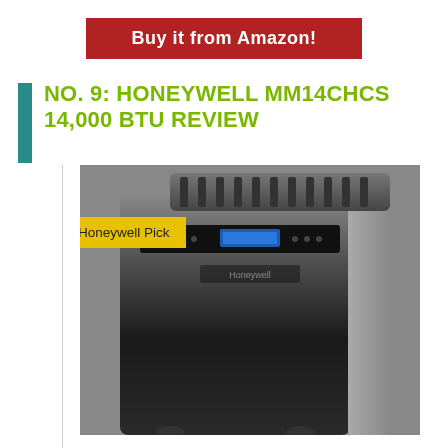[Figure (other): Red button/banner with text 'Buy it from Amazon!']
NO. 9: HONEYWELL MM14CHCS 14,000 BTU REVIEW
[Figure (photo): Photo of a Honeywell portable air conditioner unit (black and silver) with a 'Honeywell Pick' label overlay in yellow/gold]